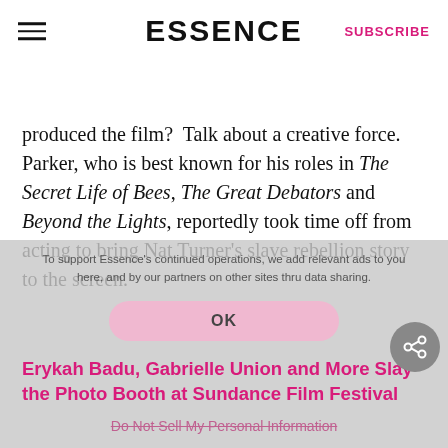ESSENCE | SUBSCRIBE
produced the film?  Talk about a creative force. Parker, who is best known for his roles in The Secret Life of Bees, The Great Debators and Beyond the Lights, reportedly took time off from acting to bring Nat Turner's slave rebellion story to the screen.
To support Essence's continued operations, we add relevant ads to you here, and by our partners on other sites thru data sharing.
OK
Erykah Badu, Gabrielle Union and More Slay the Photo Booth at Sundance Film Festival
Do Not Sell My Personal Information